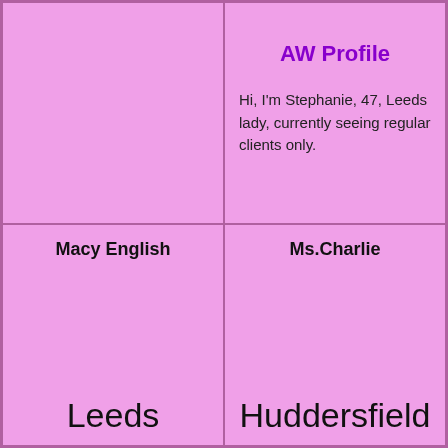[Figure (photo): Empty pink cell, top-left, likely where a profile photo would appear]
AW Profile
Hi, I'm Stephanie, 47, Leeds lady, currently seeing regular clients only.
Macy English
Leeds
Ms.Charlie
Huddersfield